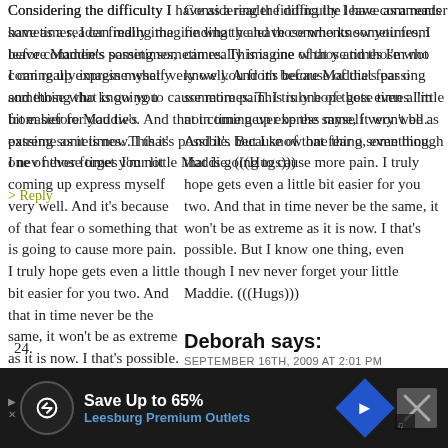Considering the difficulty I have as a reader finding the leave comments sometimes, I can really imagine what y and those who know you from before Maddie's passing sometimes. This is one of those times I'm not coming up express myself very well. And it's because of that fear o something that is going to cause more pain. I truly hope gets even a little bit easier for you two. And that in time never be the same, it won't be as extreme as it is now. I that's possible. But I know one thing, even though I nev never forget your little Maddie. (((Hugs)))
> Reply
24.
Deborah says:
SEPTEMBER 16TH, 2009 AT 2:01 PM
My cousin lost his son very unexpectedly when he was Maddie. I suppose as the years have gone on, I'm less sk bringing him up. I mean it's not like they've forgotten ab ... remembering hi
[Figure (infographic): Advertisement banner at bottom: Save Up to 65% Leesburg Premium Outlets with navigation arrow icon and close button]